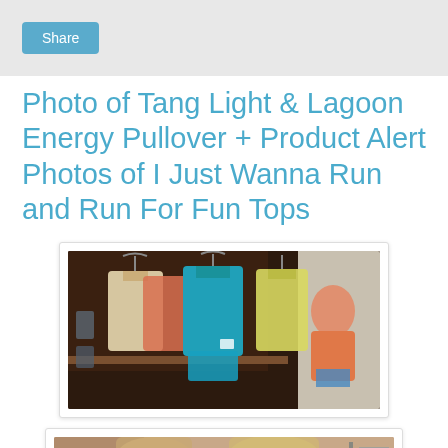Share
Photo of Tang Light & Lagoon Energy Pullover + Product Alert Photos of I Just Wanna Run and Run For Fun Tops
[Figure (photo): Photo of athletic tops hanging on racks in a store - showing tank tops in various colors including teal/lagoon, white, and yellow/light colors. A person in an orange top is visible in the background browsing.]
[Figure (photo): Photo showing two people with blonde hair, partially cropped, appearing to be in a retail store setting with clothing racks visible in the background.]